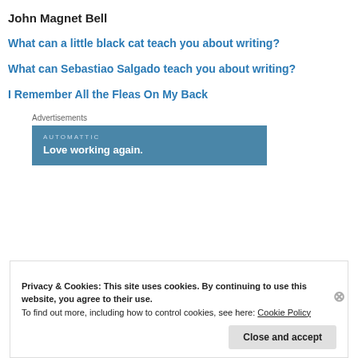John Magnet Bell
What can a little black cat teach you about writing?
What can Sebastiao Salgado teach you about writing?
I Remember All the Fleas On My Back
[Figure (other): Automattic advertisement banner with text 'AUTOMATTIC' and tagline 'Love working again.' on a blue background]
Privacy & Cookies: This site uses cookies. By continuing to use this website, you agree to their use. To find out more, including how to control cookies, see here: Cookie Policy
Close and accept